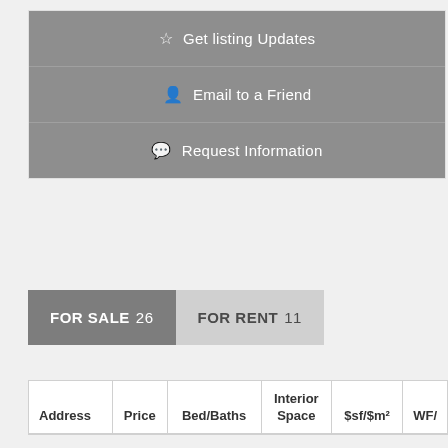Get listing Updates
Email to a Friend
Request Information
FOR SALE 26   FOR RENT 11
| Address | Price | Bed/Baths | Interior Space | $sf/$m² | WF/ |
| --- | --- | --- | --- | --- | --- |